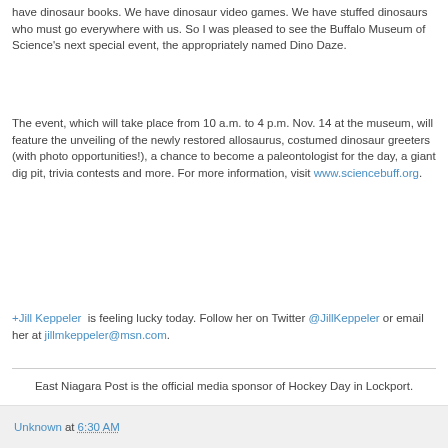have dinosaur books. We have dinosaur video games. We have stuffed dinosaurs who must go everywhere with us. So I was pleased to see the Buffalo Museum of Science's next special event, the appropriately named Dino Daze.
The event, which will take place from 10 a.m. to 4 p.m. Nov. 14 at the museum, will feature the unveiling of the newly restored allosaurus, costumed dinosaur greeters (with photo opportunities!), a chance to become a paleontologist for the day, a giant dig pit, trivia contests and more. For more information, visit www.sciencebuff.org.
+Jill Keppeler  is feeling lucky today. Follow her on Twitter @JillKeppeler or email her at jillmkeppeler@msn.com.
East Niagara Post is the official media sponsor of Hockey Day in Lockport.
Unknown at 6:30 AM